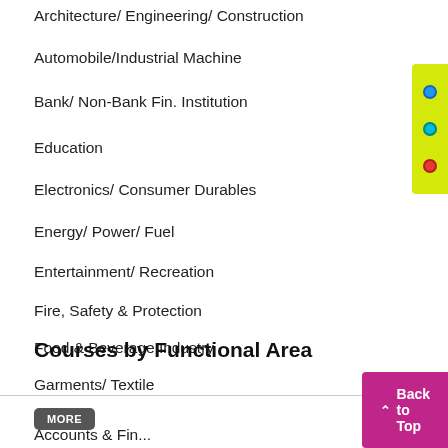Architecture/ Engineering/ Construction
Automobile/Industrial Machine
Bank/ Non-Bank Fin. Institution
Education
Electronics/ Consumer Durables
Energy/ Power/ Fuel
Entertainment/ Recreation
Fire, Safety & Protection
Food & Beverage Industry
Garments/ Textile
MORE
Courses by Functional Area
Accounts & Fin...